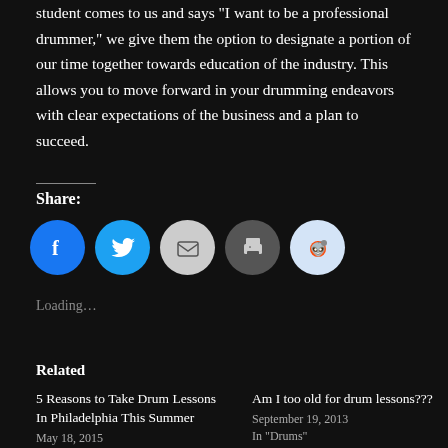student comes to us and says "I want to be a professional drummer," we give them the option to designate a portion of our time together towards education of the industry. This allows you to move forward in your drumming endeavors with clear expectations of the business and a plan to succeed.
Share:
[Figure (infographic): Row of five social share icon buttons: Facebook (blue circle), Twitter (blue circle), Email (light grey circle), Print (dark grey circle), Reddit (light blue circle)]
Loading…
Related
5 Reasons to Take Drum Lessons In Philadelphia This Summer
May 18, 2015
Am I too old for drum lessons???
September 19, 2013
In "Drums"